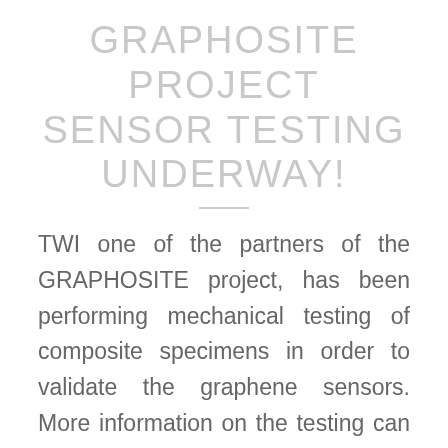GRAPHOSITE PROJECT SENSOR TESTING UNDERWAY!
TWI one of the partners of the GRAPHOSITE project, has been performing mechanical testing of composite specimens in order to validate the graphene sensors. More information on the testing can be found at the following link.